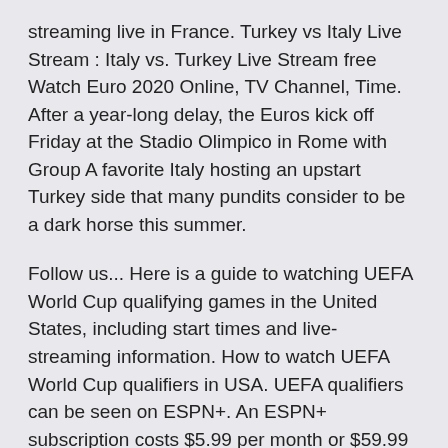streaming live in France. Turkey vs Italy Live Stream : Italy vs. Turkey Live Stream free Watch Euro 2020 Online, TV Channel, Time. After a year-long delay, the Euros kick off Friday at the Stadio Olimpico in Rome with Group A favorite Italy hosting an upstart Turkey side that many pundits consider to be a dark horse this summer.
Follow us... Here is a guide to watching UEFA World Cup qualifying games in the United States, including start times and live-streaming information. How to watch UEFA World Cup qualifiers in USA. UEFA qualifiers can be seen on ESPN+. An ESPN+ subscription costs $5.99 per month or $59.99 annually. It can also be bundled with Disney+ and Hulu for $12.99 per How to Watch Wales vs Switzerland Live Stream for Free. All the